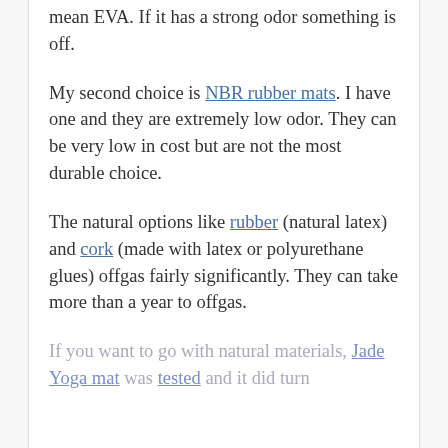mean EVA. If it has a strong odor something is off.
My second choice is NBR rubber mats. I have one and they are extremely low odor. They can be very low in cost but are not the most durable choice.
The natural options like rubber (natural latex) and cork (made with latex or polyurethane glues) offgas fairly significantly. They can take more than a year to offgas.
If you want to go with natural materials, Jade Yoga mat was tested and it did turn